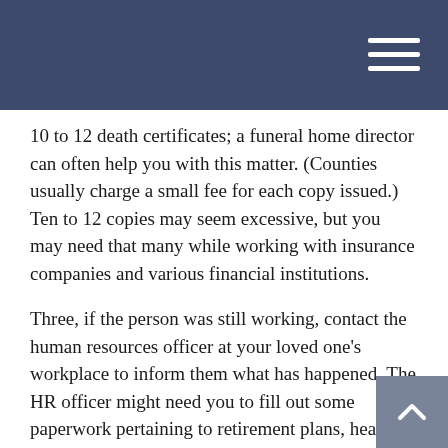10 to 12 death certificates; a funeral home director can often help you with this matter. (Counties usually charge a small fee for each copy issued.) Ten to 12 copies may seem excessive, but you may need that many while working with insurance companies and various financial institutions.
Three, if the person was still working, contact the human resources officer at your loved one's workplace to inform them what has happened. The HR officer might need you to fill out some paperwork pertaining to retirement plans, health benefits, and compensation for unused vacation time.
Four, consider speaking with an attorney – this can be the lawyer who helped your loved one create a will or estate plan. Should your loved one die without a will, you may